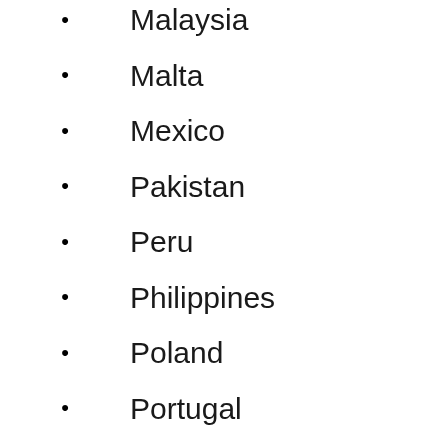Malaysia
Malta
Mexico
Pakistan
Peru
Philippines
Poland
Portugal
Puerto Rico
ROC
Romania
San Marino
Serbia
Slovakia
Slovenia
South Korea